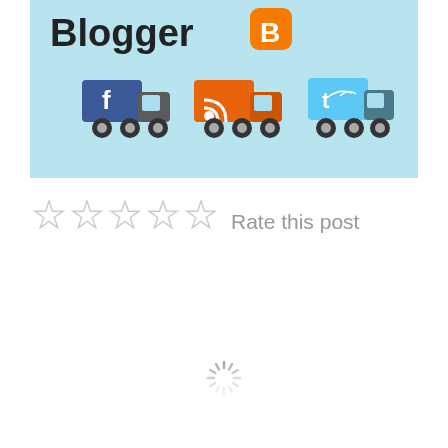[Figure (screenshot): Blogger banner image with light blue background showing the Blogger logo text and icon at top, and three trucks below each carrying a different social media logo (Facebook blue, RSS orange, Twitter blue)]
Rate this post
[Figure (other): Loading spinner (circular dashed indicator) in gray]